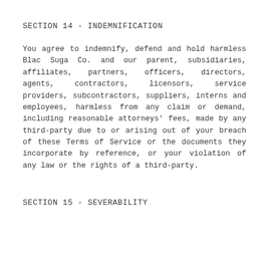SECTION 14 - INDEMNIFICATION
You agree to indemnify, defend and hold harmless Blac Suga Co. and our parent, subsidiaries, affiliates, partners, officers, directors, agents, contractors, licensors, service providers, subcontractors, suppliers, interns and employees, harmless from any claim or demand, including reasonable attorneys' fees, made by any third-party due to or arising out of your breach of these Terms of Service or the documents they incorporate by reference, or your violation of any law or the rights of a third-party.
SECTION 15 - SEVERABILITY